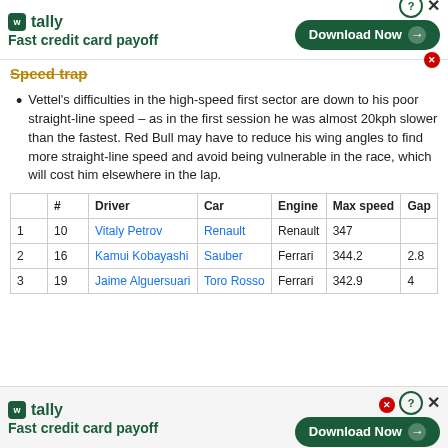[Figure (other): Tally app advertisement banner at top: logo, 'Fast credit card payoff' tagline, Download Now button]
Speed trap
Vettel's difficulties in the high-speed first sector are down to his poor straight-line speed – as in the first session he was almost 20kph slower than the fastest. Red Bull may have to reduce his wing angles to find more straight-line speed and avoid being vulnerable in the race, which will cost him elsewhere in the lap.
|  | # | Driver | Car | Engine | Max speed | Gap |
| --- | --- | --- | --- | --- | --- | --- |
| 1 | 10 | Vitaly Petrov | Renault | Renault | 347 |  |
| 2 | 16 | Kamui Kobayashi | Sauber | Ferrari | 344.2 | 2.8 |
| 3 | 19 | Jaime Alguersuari | Toro Rosso | Ferrari | 342.9 | 4 |
[Figure (other): Tally app advertisement banner at bottom: logo, 'Fast credit card payoff' tagline, Download Now button]